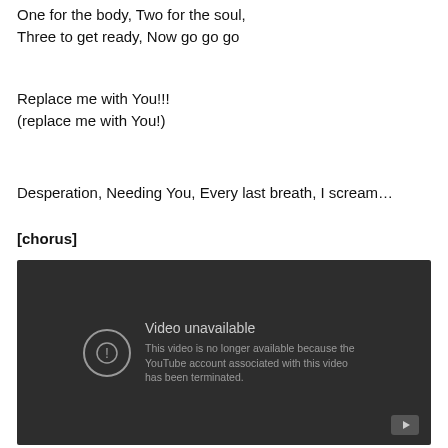One for the body, Two for the soul,
Three to get ready, Now go go go
Replace me with You!!!
(replace me with You!)
Desperation, Needing You, Every last breath, I scream…
[chorus]
[Figure (screenshot): Embedded YouTube video player showing 'Video unavailable' error message: 'This video is no longer available because the YouTube account associated with this video has been terminated.']